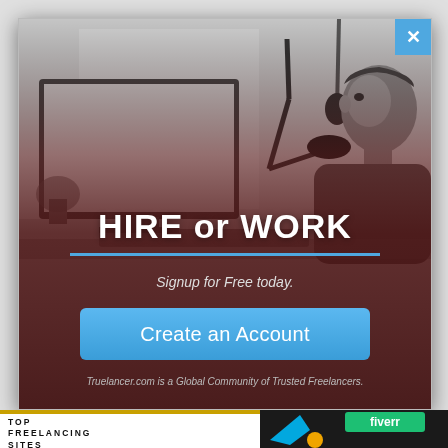[Figure (screenshot): A modal popup overlay on a webpage. Background shows a black-and-white photograph of a young man working at a desktop computer with a desk lamp. The modal has a dark reddish-brown semi-transparent overlay on the lower portion. Content includes a large bold white heading 'HIRE or WORK', a blue horizontal rule, italic text 'Signup for Free today.', a blue 'Create an Account' button, and small italic text 'Truelancer.com is a Global Community of Trusted Freelancers.' A blue close (X) button is in the top-right corner. Below the modal, partial page content is visible showing 'TOP FREELANCING SITES' text and Fiverr logo on the right.]
HIRE or WORK
Signup for Free today.
Create an Account
Truelancer.com is a Global Community of Trusted Freelancers.
TOP FREELANCING SITES
Complete List of Freelancing websites